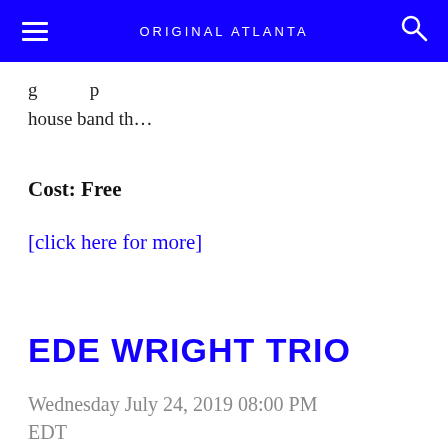ORIGINAL ATLANTA
g… p… house band th…
Cost: Free
[click here for more]
EDE WRIGHT TRIO
Wednesday July 24, 2019 08:00 PM EDT